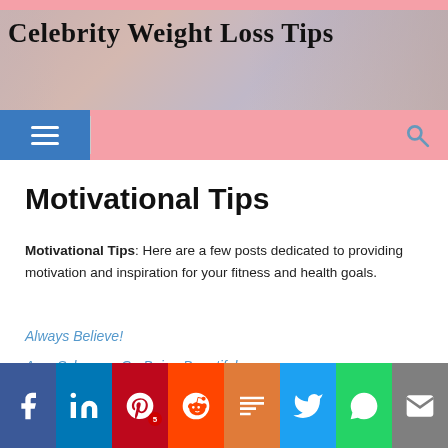Celebrity Weight Loss Tips
Motivational Tips
Motivational Tips: Here are a few posts dedicated to providing motivation and inspiration for your fitness and health goals.
Always Believe!
Amy Schumer: On Being Beautiful